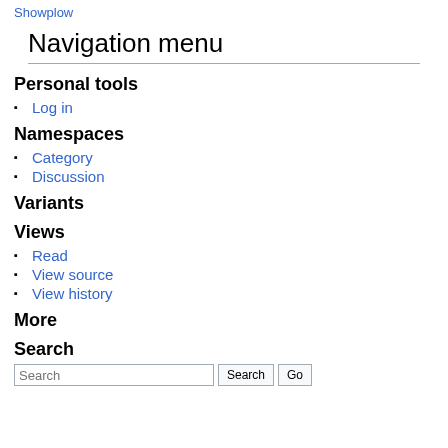Showplow
Navigation menu
Personal tools
Log in
Namespaces
Category
Discussion
Variants
Views
Read
View source
View history
More
Search
Search [search input and buttons]